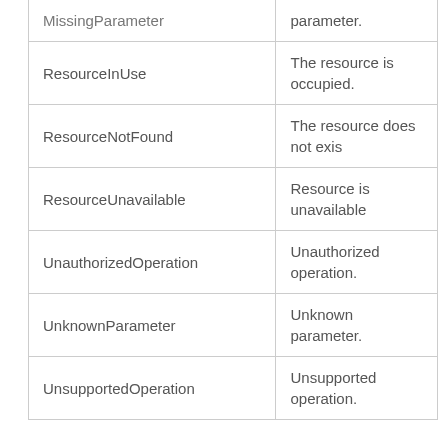| Error Code | Description |
| --- | --- |
| MissingParameter | parameter. |
| ResourceInUse | The resource is occupied. |
| ResourceNotFound | The resource does not exist |
| ResourceUnavailable | Resource is unavailable |
| UnauthorizedOperation | Unauthorized operation. |
| UnknownParameter | Unknown parameter. |
| UnsupportedOperation | Unsupported operation. |